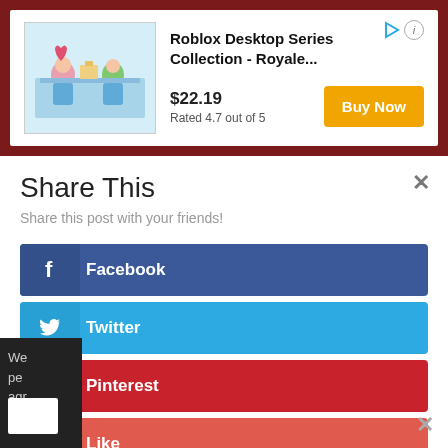[Figure (screenshot): Advertisement for Roblox Desktop Series Collection toy set with product image, price $22.19, rating 4.7 out of 5, and Buy Now button]
Share This
Share this post with your friends!
Facebook
Twitter
Pinterest
Like